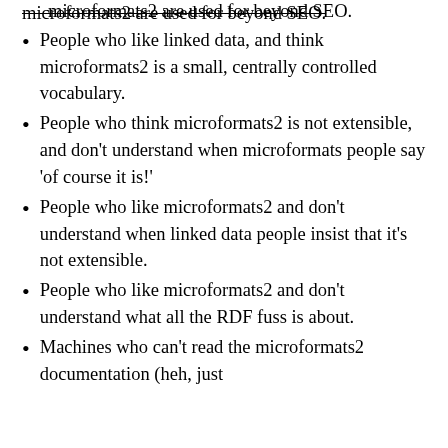microformats2 are used for beyond SEO.
People who like linked data, and think microformats2 is a small, centrally controlled vocabulary.
People who think microformats2 is not extensible, and don't understand when microformats people say 'of course it is!'
People who like microformats2 and don't understand when linked data people insist that it's not extensible.
People who like microformats2 and don't understand what all the RDF fuss is about.
Machines who can't read the microformats2 documentation (heh, just